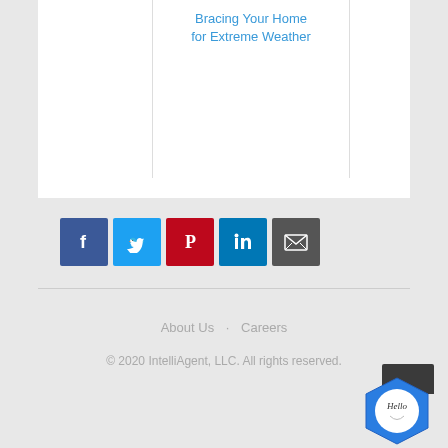Bracing Your Home for Extreme Weather
[Figure (infographic): Social sharing icons: Facebook (blue), Twitter (light blue), Pinterest (red), LinkedIn (blue), Email (dark gray)]
About Us · Careers
© 2020 IntelliAgent, LLC. All rights reserved.
[Figure (illustration): Hello chat widget hexagon badge in lower right corner]